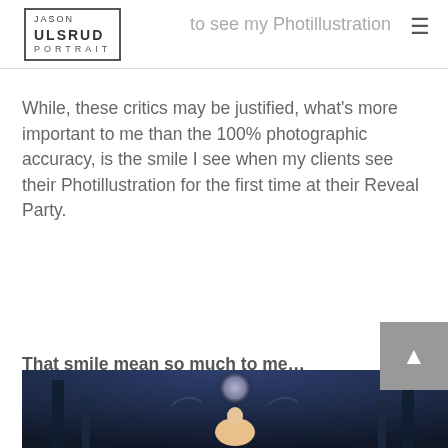Jason Ulsrud Portrait | to see my Photillustration Portfolio.
While, these critics may be justified, what’s more important to me than the 100% photographic accuracy, is the smile I see when my clients see their Photillustration for the first time at their Reveal Party.
That smile mean so much to me…
[Figure (photo): Photo of a girl smiling in a fantasy forest setting with a moon and birds, dark blue tones]